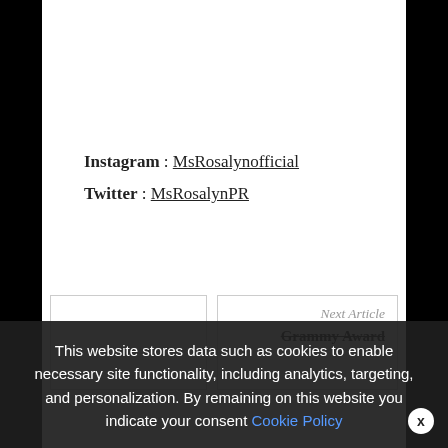Instagram : MsRosalynofficial
Twitter : MsRosalynPR
Next Article
Grammy Award...
This website stores data such as cookies to enable necessary site functionality, including analytics, targeting, and personalization. By remaining on this website you indicate your consent Cookie Policy